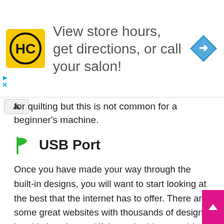[Figure (infographic): Advertisement banner showing HC logo (yellow square with HC letters), text 'View store hours, get directions, or call your salon!', and a blue diamond navigation arrow icon on the right. There are small play and close (X) controls on the left side.]
for quilting but this is not common for a beginner's machine.
USB Port
Once you have made your way through the built-in designs, you will want to start looking at the best that the internet has to offer. There are some great websites with thousands of designs but this is only good if the embroidery machine you are considering makes it easy to upload them.
Most tend to come with a USB port so you can transfer them onto the machine and some can even be